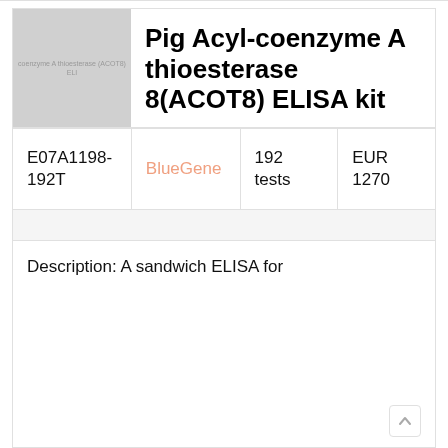[Figure (photo): Thumbnail image placeholder for Pig Acyl-coenzyme A thioesterase 8 (ACOT8) ELISA kit product, showing the product label text on a grey background.]
Pig Acyl-coenzyme A thioesterase 8(ACOT8) ELISA kit
| E07A1198-192T | BlueGene | 192 tests | EUR 1270 |
Description: A sandwich ELISA for